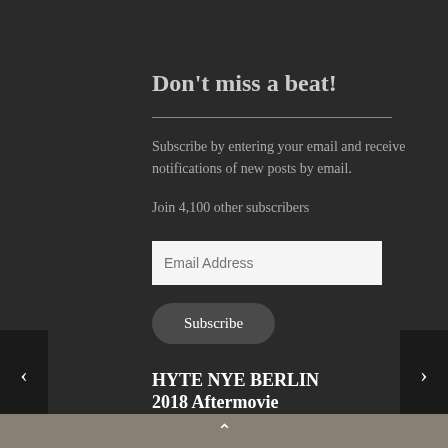Don't miss a beat!
Subscribe by entering your email and receive notifications of new posts by email.
Join 4,100 other subscribers
HYTE NYE BERLIN 2018 Aftermovie